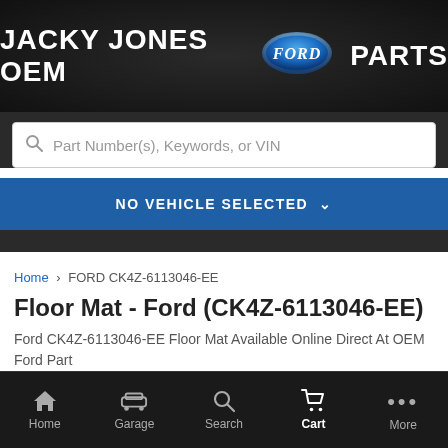JACKY JONES OEM Ford PARTS
Part Number(s), Keywords, or VIN
NO VEHICLE SELECTED
Home > FORD CK4Z-6113046-EE
Floor Mat - Ford (CK4Z-6113046-EE)
Ford CK4Z-6113046-EE Floor Mat Available Online Direct At OEM Ford Part
Home  Garage  Search  Cart  More